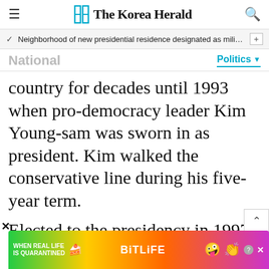The Korea Herald
Neighborhood of new presidential residence designated as milita…
National
Politics
country for decades until 1993 when pro-democracy leader Kim Young-sam was sworn in as president. Kim walked the conservative line during his five-year term.
Elected to the presidency in 1997 amid the foreign exchange crisis, Kim Dae-jung, another leader in the democracy movement, launched the nation's first liberal